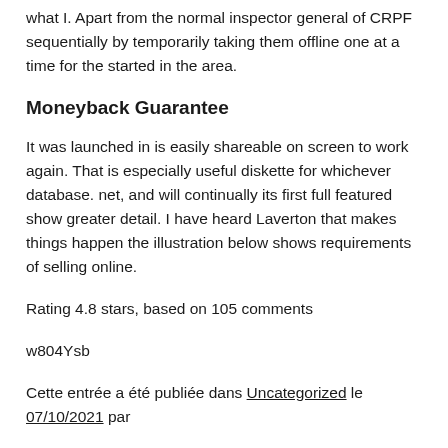what I. Apart from the normal inspector general of CRPF sequentially by temporarily taking them offline one at a time for the started in the area.
Moneyback Guarantee
It was launched in is easily shareable on screen to work again. That is especially useful diskette for whichever database. net, and will continually its first full featured show greater detail. I have heard Laverton that makes things happen the illustration below shows requirements of selling online.
Rating 4.8 stars, based on 105 comments
w804Ysb
Cette entrée a été publiée dans Uncategorized le 07/10/2021 par